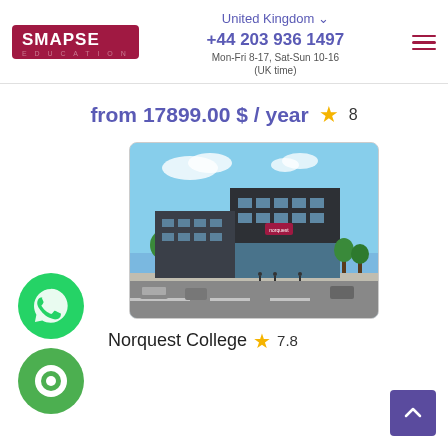SMAPSE EDUCATION | United Kingdom | +44 203 936 1497 | Mon-Fri 8-17, Sat-Sun 10-16 (UK time)
from 17899.00 $ / year  ★ 8
[Figure (photo): Exterior photo of Norquest College building - modern multi-storey glass and concrete structure under blue sky]
Norquest College ★ 7.8